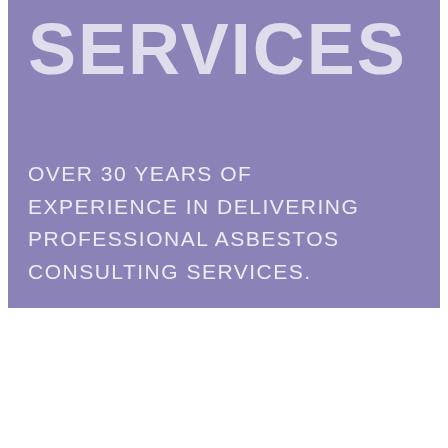[Figure (illustration): Purple/lavender rectangle background panel with large bold text 'SERVICES' at top and body text reading 'OVER 30 YEARS OF EXPERIENCE IN DELIVERING PROFESSIONAL ASBESTOS CONSULTING SERVICES.']
SERVICES
OVER 30 YEARS OF EXPERIENCE IN DELIVERING PROFESSIONAL ASBESTOS CONSULTING SERVICES.